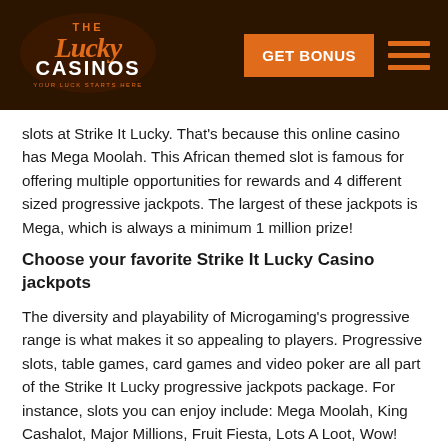[Figure (logo): The Lucky Casinos logo with orange stylized text on dark brown background]
slots at Strike It Lucky. That's because this online casino has Mega Moolah. This African themed slot is famous for offering multiple opportunities for rewards and 4 different sized progressive jackpots. The largest of these jackpots is Mega, which is always a minimum 1 million prize!
Choose your favorite Strike It Lucky Casino jackpots
The diversity and playability of Microgaming's progressive range is what makes it so appealing to players. Progressive slots, table games, card games and video poker are all part of the Strike It Lucky progressive jackpots package. For instance, slots you can enjoy include: Mega Moolah, King Cashalot, Major Millions, Fruit Fiesta, Lots A Loot, Wow! Pot, Treasure Nile, Cash Splash and Tunzamuni.
Not into slots that much? Why not try winning video poker progressive jackpots like: Triple Sevens, Jackpot Deuces or Supajax Jacks or Better. There is also Caribbean Draw Poker, Cyberstud Poker and Poker Ride as well as a